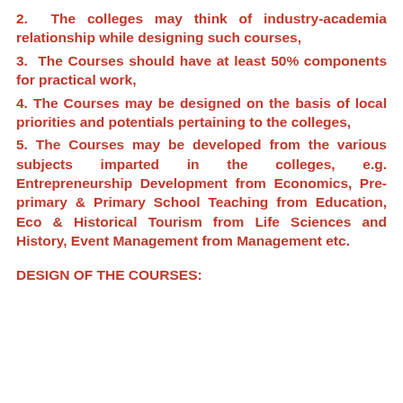2.  The colleges may think of industry-academia relationship while designing such courses,
3.  The Courses should have at least 50% components for practical work,
4. The Courses may be designed on the basis of local priorities and potentials pertaining to the colleges,
5. The Courses may be developed from the various subjects imparted in the colleges, e.g. Entrepreneurship Development from Economics, Pre-primary & Primary School Teaching from Education, Eco & Historical Tourism from Life Sciences and History, Event Management from Management etc.
DESIGN OF THE COURSES: